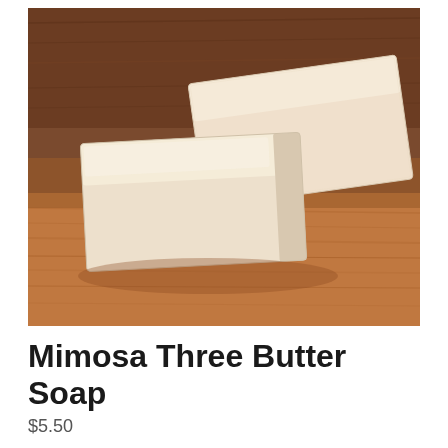[Figure (photo): Two bars of pale cream/ivory handmade soap bars stacked on a wooden surface, with a dark wood background. The soap bars are rectangular, smooth, and slightly off-white in color.]
Mimosa Three Butter Soap
$5.50